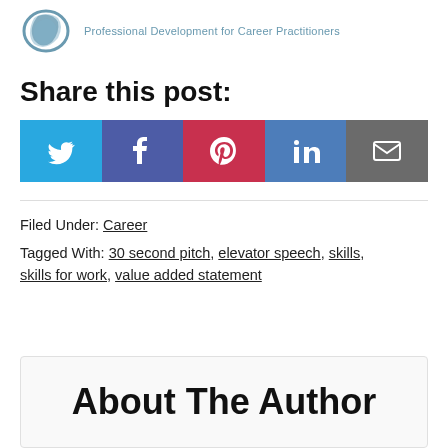[Figure (logo): Blue geometric/swirl logo icon with text 'Professional Development for Career Practitioners']
Share this post:
[Figure (infographic): Row of five social media share buttons: Twitter (blue), Facebook (purple), Pinterest (red), LinkedIn (blue), Email (gray)]
Filed Under: Career
Tagged With: 30 second pitch, elevator speech, skills, skills for work, value added statement
About The Author